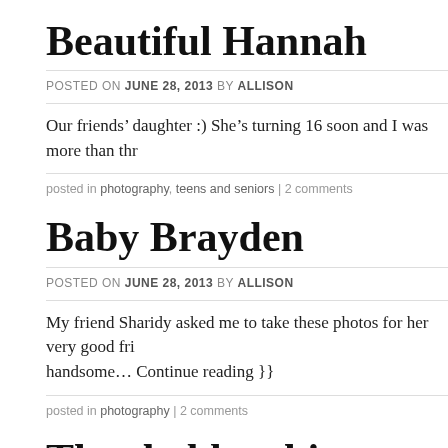Beautiful Hannah
POSTED ON JUNE 28, 2013 BY ALLISON
Our friends’ daughter :) She’s turning 16 soon and I was more than thr
posted in photography, teens and seniors | 2 comments
Baby Brayden
POSTED ON JUNE 28, 2013 BY ALLISON
My friend Sharidy asked me to take these photos for her very good fri… handsome… Continue reading }}
posted in photography | 2 comments
The shabby chic wedding of K + C
POSTED ON MAY 4, 2013 BY ALLISON